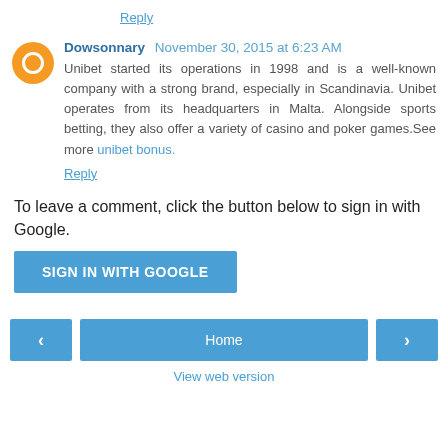Reply
Dowsonnary November 30, 2015 at 6:23 AM
Unibet started its operations in 1998 and is a well-known company with a strong brand, especially in Scandinavia. Unibet operates from its headquarters in Malta. Alongside sports betting, they also offer a variety of casino and poker games.See more unibet bonus.
Reply
To leave a comment, click the button below to sign in with Google.
SIGN IN WITH GOOGLE
< Home > View web version